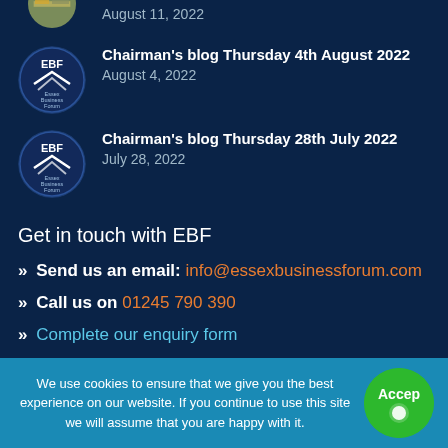[Figure (other): Partial circular thumbnail image (cropped at top) with date August 11, 2022]
August 11, 2022
[Figure (logo): EBF (Essex Business Forum) circular logo]
Chairman's blog Thursday 4th August 2022
August 4, 2022
[Figure (logo): EBF (Essex Business Forum) circular logo]
Chairman's blog Thursday 28th July 2022
July 28, 2022
Get in touch with EBF
» Send us an email: info@essexbusinessforum.com
» Call us on 01245 790 390
» Complete our enquiry form
» Invite a guest to an EBF meeting
We use cookies to ensure that we give you the best experience on our website. If you continue to use this site we will assume that you are happy with it.